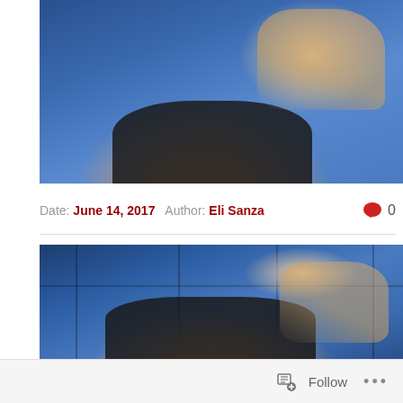[Figure (photo): Photo of a blonde woman in a black outfit against a blue background, raising her hand with fingers spread]
Date: June 14, 2017   Author: Eli Sanza   0
[Figure (photo): Photo of a blonde woman in a black outfit against a blue panel background, raising her hand with fingers spread, smiling]
Follow